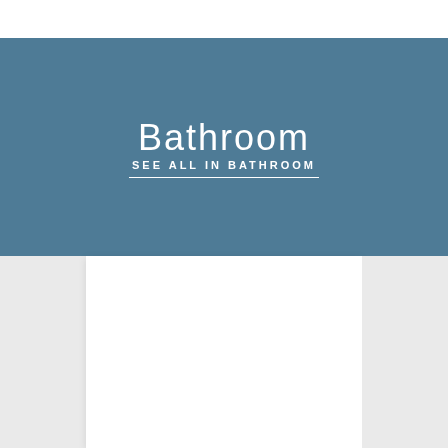Bathroom
SEE ALL IN BATHROOM
[Figure (other): Bottom section showing a white card/panel centered on a light gray background, representing a product listing area beneath the Bathroom category banner.]